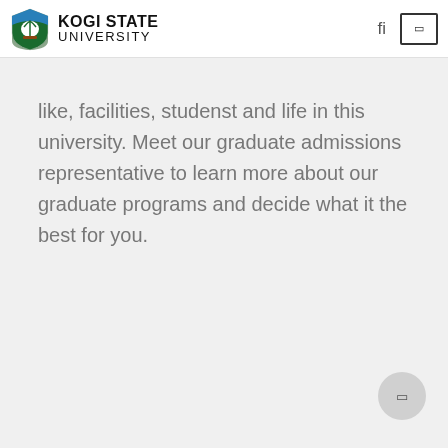KOGI STATE UNIVERSITY
like, facilities, studenst and life in this university. Meet our graduate admissions representative to learn more about our graduate programs and decide what it the best for you.